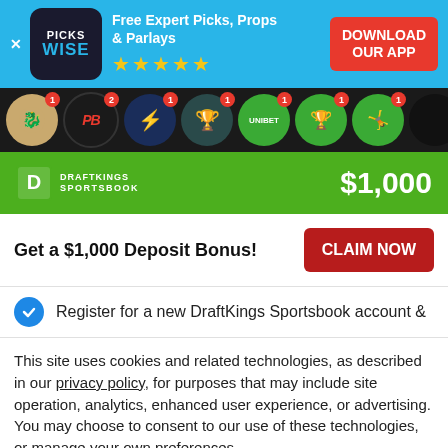[Figure (screenshot): Pickswise app advertisement banner with logo, tagline 'Free Expert Picks, Props & Parlays', 5 stars, and 'DOWNLOAD OUR APP' button]
[Figure (screenshot): Row of sportsbook circular icons with notification badges]
[Figure (screenshot): DraftKings Sportsbook green promotional bar showing $1,000 offer]
Get a $1,000 Deposit Bonus!
CLAIM NOW
Register for a new DraftKings Sportsbook account &
This site uses cookies and related technologies, as described in our privacy policy, for purposes that may include site operation, analytics, enhanced user experience, or advertising. You may choose to consent to our use of these technologies, or manage your own preferences.
Manage Settings
Accept
Decline All